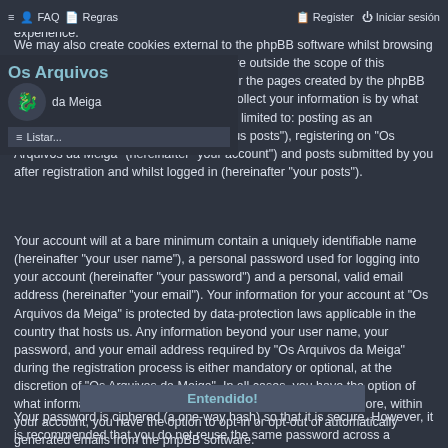≡  👤 FAQ  📄 Regras  |  📋 Register  ⏻ Iniciar sesión
[Figure (logo): Os Arquivos da Meiga logo with dragon icon]
used to store which topics have been read, thereby improving your user experience.
We may also create cookies external to the phpBB software whilst browsing "Os Arquivos da Meiga", though these are outside the scope of this document which is intended to only cover the pages created by the phpBB software. The second way in which we collect your information is by what you submit to us. This can be, and is not limited to: posting as an anonymous user (hereinafter "anonymous posts"), registering on "Os Arquivos da Meiga" (hereinafter "your account") and posts submitted by you after registration and whilst logged in (hereinafter "your posts").
Your account will at a bare minimum contain a uniquely identifiable name (hereinafter "your user name"), a personal password used for logging into your account (hereinafter "your password") and a personal, valid email address (hereinafter "your email"). Your information for your account at "Os Arquivos da Meiga" is protected by data-protection laws applicable in the country that hosts us. Any information beyond your user name, your password, and your email address required by "Os Arquivos da Meiga" during the registration process is either mandatory or optional, at the discretion of "Os Arquivos da Meiga". In all cases, you have the option of what information in your account is publicly displayed. Furthermore, within your account, you have the option to opt-in or opt-out of automatically generated emails from the phpBB software.
Entendido!
Your password is ciphered (a one-way hash) so that it is secure. However, it is recommended that you do not reuse the same password across a number of different websites. Your password is the means of accessing your account at "